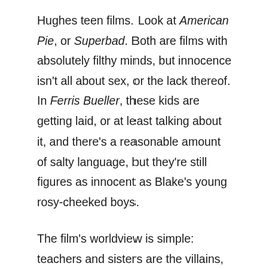Hughes teen films. Look at American Pie, or Superbad. Both are films with absolutely filthy minds, but innocence isn't all about sex, or the lack thereof. In Ferris Bueller, these kids are getting laid, or at least talking about it, and there's a reasonable amount of salty language, but they're still figures as innocent as Blake's young rosy-cheeked boys.
The film's worldview is simple: teachers and sisters are the villains, girls and friends and cars and simple pleasure are the treasure. All that provides just enough grit to make it feel real; it's still a entirely good-natured film. Even as it shows us that childlike quality fading into twilight, the world of Ferris Bueller's Day Off remains untouched by what lies beyond, in the dark.
Ferris Bueller's Day Off...